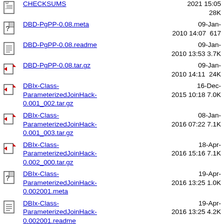CHECKSUMS  2021 15:05  28K
DBD-PgPP-0.08.meta  09-Jan-2010 14:07  617
DBD-PgPP-0.08.readme  09-Jan-2010 13:53  3.7K
DBD-PgPP-0.08.tar.gz  09-Jan-2010 14:11  24K
DBIx-Class-ParameterizedJoinHack-0.001_002.tar.gz  16-Dec-2015 10:18  7.0K
DBIx-Class-ParameterizedJoinHack-0.001_003.tar.gz  08-Jan-2016 07:22  7.1K
DBIx-Class-ParameterizedJoinHack-0.002_000.tar.gz  18-Apr-2016 15:16  7.1K
DBIx-Class-ParameterizedJoinHack-0.002001.meta  19-Apr-2016 13:25  1.0K
DBIx-Class-ParameterizedJoinHack-0.002001.readme  19-Apr-2016 13:25  4.2K
DBIx-Class-